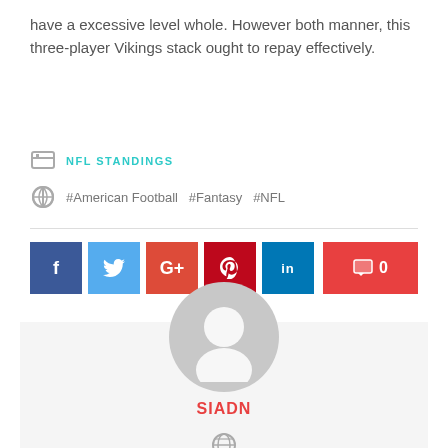have a excessive level whole. However both manner, this three-player Vikings stack ought to repay effectively.
NFL STANDINGS
#American Football  #Fantasy  #NFL
[Figure (infographic): Social share buttons: Facebook (blue), Twitter (light blue), Google+ (red), Pinterest (dark red), LinkedIn (blue), and a comment count button showing 0 (red)]
[Figure (photo): Author avatar placeholder: gray circle with white user silhouette icon, inside a light gray box. Author name SIADN shown in red below, with a globe icon.]